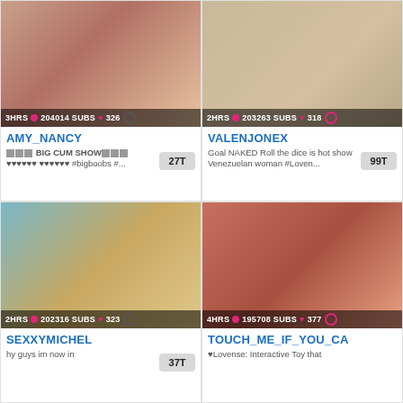[Figure (screenshot): Webcam thumbnail of AMY_NANCY with overlay showing 3HRS, 204014 SUBS, 326]
AMY_NANCY
BIG CUM SHOW #bigboobs #...
[Figure (screenshot): Webcam thumbnail of VALENJONEX with overlay showing 2HRS, 203263 SUBS, 318]
VALENJONEX
Goal NAKED Roll the dice is hot show Venezuelan woman #Loven...
[Figure (screenshot): Webcam thumbnail of SEXXYMICHEL with overlay showing 2HRS, 202316 SUBS, 323]
SEXXYMICHEL
hy guys im now in
[Figure (screenshot): Webcam thumbnail of TOUCH_ME_IF_YOU_CA with overlay showing 4HRS, 195708 SUBS, 377]
TOUCH_ME_IF_YOU_CA
♥Lovense: Interactive Toy that